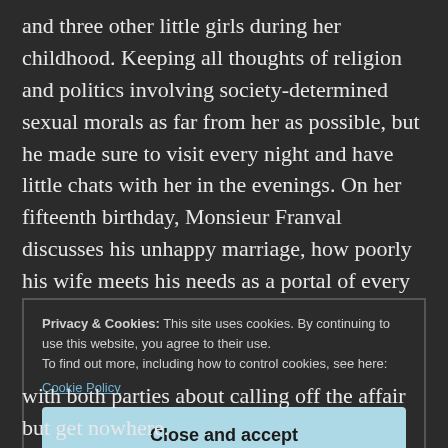and three other little girls during her childhood. Keeping all thoughts of religion and politics involving society-determined sexual morals as far from her as possible, but he made sure to visit every night and have little chats with her in the evenings. On her fifteenth birthday, Monsieur Franval discusses his unhappy marriage, how poorly his wife meets his needs as a portal of every marriage. He then proceeds to talk his daughter into professing her love for him and becoming his lover. Making sure to word everything just right so it comes
Privacy & Cookies: This site uses cookies. By continuing to use this website, you agree to their use.
To find out more, including how to control cookies, see here:
Cookie Policy
[Close and accept button]
with both parties about calling off the affair but get nowhere.